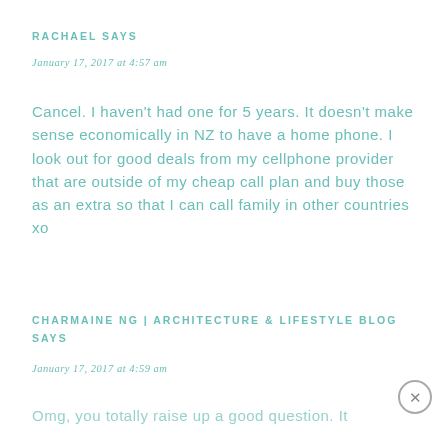RACHAEL SAYS
January 17, 2017 at 4:57 am
Cancel. I haven't had one for 5 years. It doesn't make sense economically in NZ to have a home phone. I look out for good deals from my cellphone provider that are outside of my cheap call plan and buy those as an extra so that I can call family in other countries xo
CHARMAINE NG | ARCHITECTURE & LIFESTYLE BLOG SAYS
January 17, 2017 at 4:59 am
Omg, you totally raise up a good question. It...